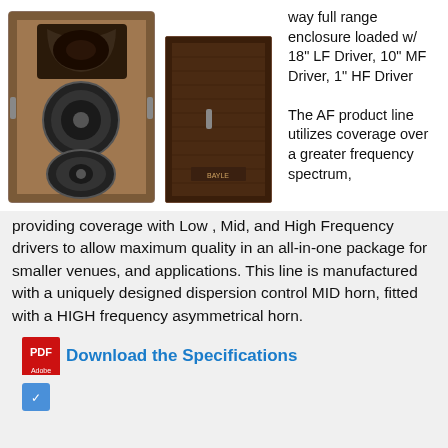[Figure (photo): Two professional speaker enclosures shown side by side. Left speaker shows front face with exposed drivers (18" woofer, 10" mid driver, and horn). Right speaker shows the cabinet exterior with dark vinyl covering.]
way full range enclosure loaded w/ 18" LF Driver, 10" MF Driver, 1" HF Driver
The AF product line utilizes coverage over a greater frequency spectrum, providing coverage with Low , Mid, and High Frequency drivers to allow maximum quality in an all-in-one package for smaller venues, and applications. This line is manufactured with a uniquely designed dispersion control MID horn, fitted with a HIGH frequency asymmetrical horn.
Download the Specifications